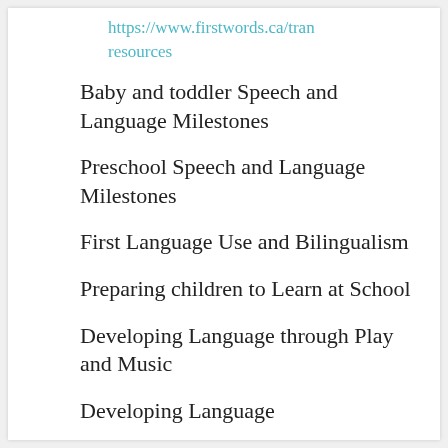https://www.firstwords.ca/tran resources
Baby and toddler Speech and Language Milestones
Preschool Speech and Language Milestones
First Language Use and Bilingualism
Preparing children to Learn at School
Developing Language through Play and Music
Developing Language